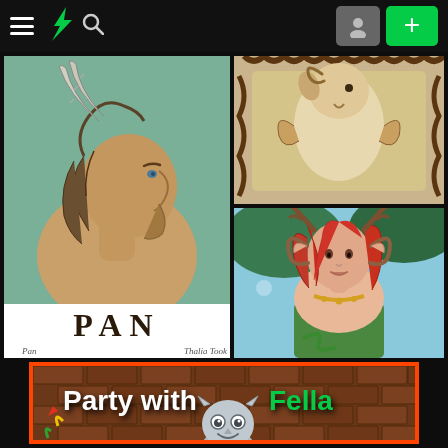DeviantArt navigation header with hamburger menu, DA logo, search icon, user avatar button, and add (+) button
[Figure (illustration): Illustration of Pan — a mythological horned figure in profile view with striped horns and wild hair, rendered in green and tan tones. Text 'PAN' at bottom. Caption reads 'Pan' and 'Thalia Took'.]
[Figure (illustration): Ornate art nouveau style illustration of a goat-like figure within a decorative brown border frame, rendered in warm tan and brown tones.]
[Figure (illustration): Fantasy illustration of a female figure with red hair, ram horns, antlers, wearing green, with a snake, against a blue sky background with trees.]
[Figure (illustration): Banner image with brick wall background, orange-red border, text 'Party with Fella' in white and green, and a cartoon robot/cat mascot character at the bottom.]